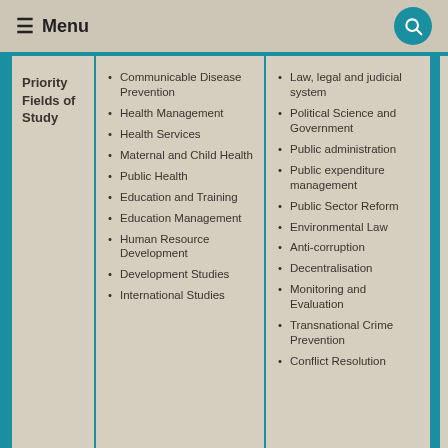☰ Menu
Priority Fields of Study
Communicable Disease Prevention
Health Management
Health Services
Maternal and Child Health
Public Health
Education and Training
Education Management
Human Resource Development
Development Studies
International Studies
Law, legal and judicial system
Political Science and Government
Public administration
Public expenditure management
Public Sector Reform
Environmental Law
Anti-corruption
Decentralisation
Monitoring and Evaluation
Transnational Crime Prevention
Conflict Resolution